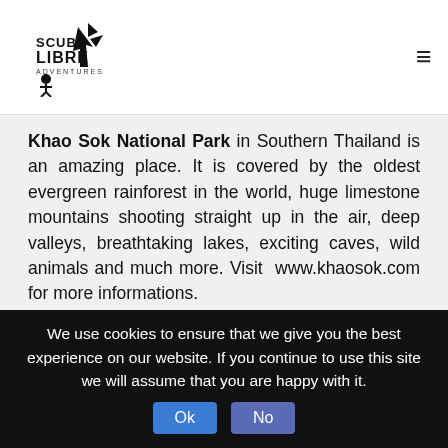Scuba Libre Adventures logo and navigation
Khao Sok National Park in Southern Thailand is an amazing place. It is covered by the oldest evergreen rainforest in the world, huge limestone mountains shooting straight up in the air, deep valleys, breathtaking lakes, exciting caves, wild animals and much more. Visit www.khaosok.com for more informations.
We can arrange transportation to get there as well as your stay in the park. Just ask us and send an email.
Scuba Libre Adventures logo | Copyright 2021
Scuba Libre Dive Center Co.LTD
We use cookies to ensure that we give you the best experience on our website. If you continue to use this site we will assume that you are happy with it. Ok No